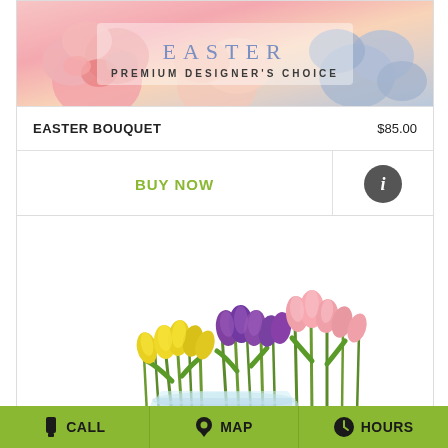[Figure (photo): Easter Premium Designer's Choice floral arrangement with pink roses and pastel flowers, with text overlay reading EASTER PREMIUM DESIGNER'S CHOICE]
EASTER BOUQUET    $85.00
BUY NOW
[Figure (photo): Colorful tulip bouquet with yellow, purple, and pink tulips in a clear vase on white background]
CALL    MAP    HOURS